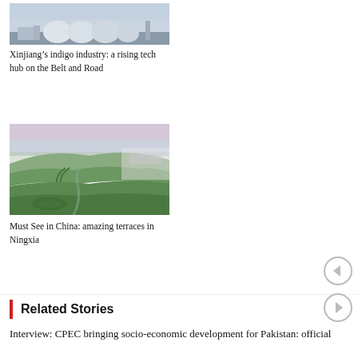[Figure (photo): Aerial view of an industrial facility with large dome-shaped storage tanks, likely related to Xinjiang's indigo/tech industry.]
Xinjiang’s indigo industry: a rising tech hub on the Belt and Road
[Figure (photo): Aerial photograph of terraced agricultural landscape in Ningxia, China, showing winding green terraces and farmland.]
Must See in China: amazing terraces in Ningxia
Related Stories
Interview: CPEC bringing socio-economic development for Pakistan: official